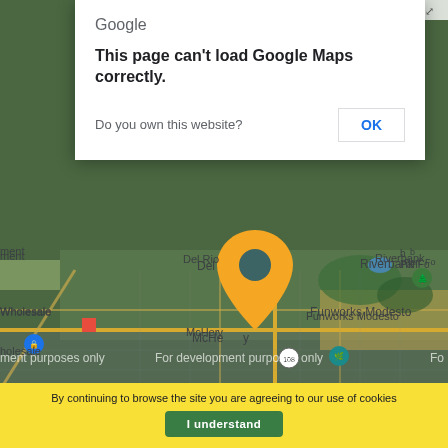[Figure (screenshot): Google Maps screenshot showing McHenry area (Modesto, California) with a yellow/orange map pin marker, development watermarks, and a Google Maps error dialog saying 'This page can't load Google Maps correctly.' with an OK button. Shows place names: Del Rio, Riverbank, McHenry, Funworks Modesto, Wholesale.]
Google
This page can't load Google Maps correctly.
Do you own this website?
OK
By continuing to browse the site you are agreeing to our use of cookies
I understand